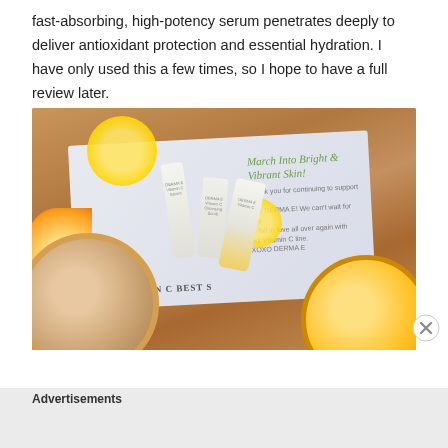fast-absorbing, high-potency serum penetrates deeply to deliver antioxidant protection and essential hydration. I have only used this a few times, so I hope to have a full review later.
[Figure (photo): Photo of Derma E Vitamin C skincare products (serum, cleansing scrub, cream tubes) on a wooden surface with lemon slices, orange halves, a promotional pamphlet reading 'March Into Bright & Vibrant Skin!' and 'NEW VITAMIN C BEST S...', and coffee cups in the foreground.]
Advertisements